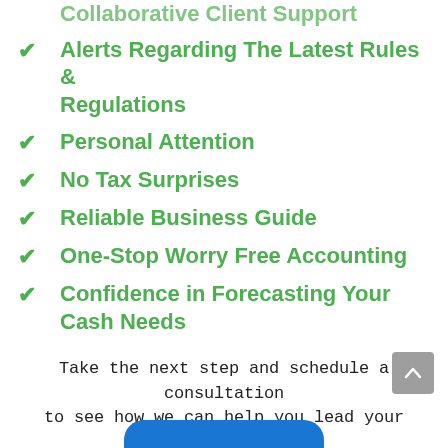Collaborative Client Support
Alerts Regarding The Latest Rules & Regulations
Personal Attention
No Tax Surprises
Reliable Business Guide
One-Stop Worry Free Accounting
Confidence in Forecasting Your Cash Needs
Take the next step and schedule a consultation to see how we can help you lead your business with confidence.